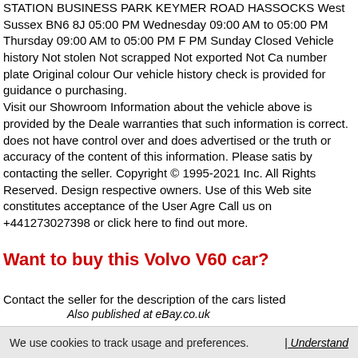STATION BUSINESS PARK KEYMER ROAD HASSOCKS West Sussex BN6 8J 05:00 PM Wednesday 09:00 AM to 05:00 PM Thursday 09:00 AM to 05:00 PM F PM Sunday Closed Vehicle history Not stolen Not scrapped Not exported Not Ca number plate Original colour Our vehicle history check is provided for guidance o purchasing. Visit our Showroom Information about the vehicle above is provided by the Deale warranties that such information is correct. does not have control over and does advertised or the truth or accuracy of the content of this information. Please satis by contacting the seller. Copyright © 1995-2021 Inc. All Rights Reserved. Design respective owners. Use of this Web site constitutes acceptance of the User Agre Call us on +441273027398 or click here to find out more.
Want to buy this Volvo V60 car?
Contact the seller for the description of the cars listed
Also published at eBay.co.uk
We use cookies to track usage and preferences.  | Understand